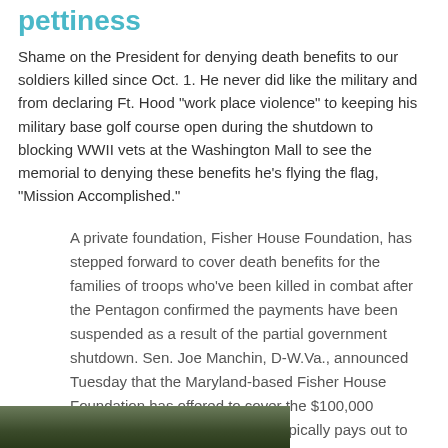pettiness
Shame on the President for denying death benefits to our soldiers killed since Oct. 1. He never did like the military and from declaring Ft. Hood "work place violence" to keeping his military base golf course open during the shutdown to blocking WWII vets at the Washington Mall to see the memorial to denying these benefits he's flying the flag, "Mission Accomplished."
A private foundation, Fisher House Foundation, has stepped forward to cover death benefits for the families of troops who've been killed in combat after the Pentagon confirmed the payments have been suspended as a result of the partial government shutdown. Sen. Joe Manchin, D-W.Va., announced Tuesday that the Maryland-based Fisher House Foundation has offered to cover the $100,000 payments that the government typically pays out to families within three days of a soldier's death.
[Figure (photo): Partial view of a photo at the bottom of the page, appears to show a military or outdoor scene with dark green/brown tones]